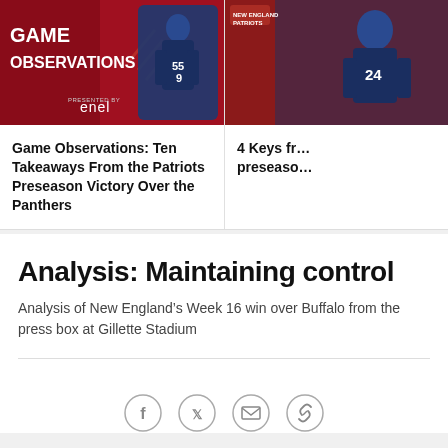[Figure (photo): Game Observations card with red background, player photos, GAME OBSERVATIONS title, enel sponsor logo]
Game Observations: Ten Takeaways From the Patriots Preseason Victory Over the Panthers
[Figure (photo): 4 Keys from preseason card with red background and player wearing #24]
4 Keys fr… preseaso…
Analysis: Maintaining control
Analysis of New England’s Week 16 win over Buffalo from the press box at Gillette Stadium